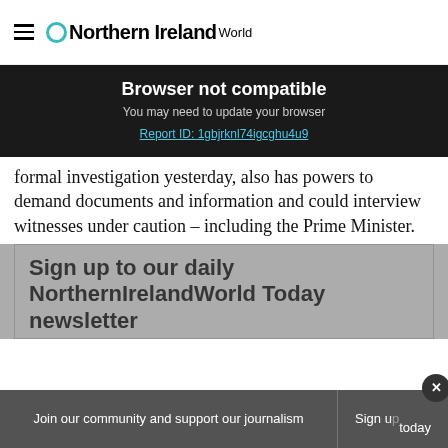Northern Ireland World
Browser not compatible
You may need to update your browser
Report ID: 1gbjrknl74igcghu4u9
formal investigation yesterday, also has powers to demand documents and information and could interview witnesses under caution – including the Prime Minister.
Sign up to our daily NorthernIrelandWorld Today newsletter
Join our community and support our journalism
Sign up today